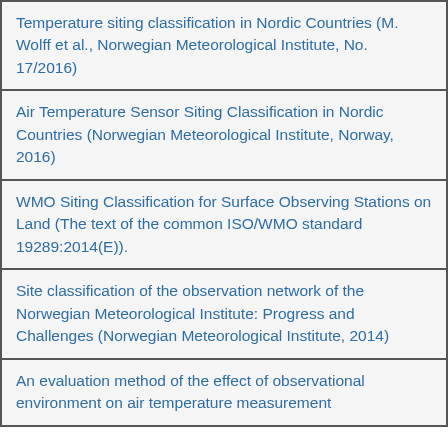Temperature siting classification in Nordic Countries (M. Wolff et al., Norwegian Meteorological Institute, No. 17/2016)
Air Temperature Sensor Siting Classification in Nordic Countries (Norwegian Meteorological Institute, Norway, 2016)
WMO Siting Classification for Surface Observing Stations on Land (The text of the common ISO/WMO standard 19289:2014(E)).
Site classification of the observation network of the Norwegian Meteorological Institute: Progress and Challenges (Norwegian Meteorological Institute, 2014)
An evaluation method of the effect of observational environment on air temperature measurement